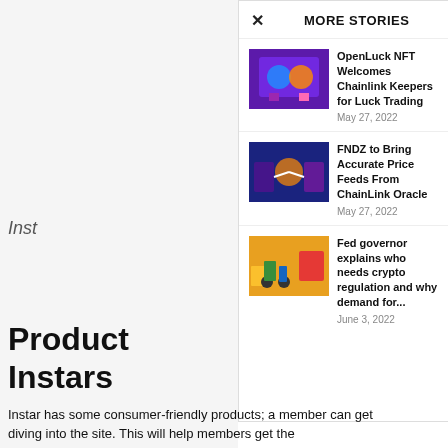× MORE STORIES
[Figure (illustration): NFT digital trading illustration with hands holding a tablet showing crypto tokens]
OpenLuck NFT Welcomes Chainlink Keepers for Luck Trading
May 27, 2022
[Figure (illustration): Two businessmen in purple suits shaking hands with a blockchain/crypto symbol between them]
FNDZ to Bring Accurate Price Feeds From ChainLink Oracle
May 27, 2022
[Figure (illustration): Street scene with construction workers and a car, editorial illustration style]
Fed governor explains who needs crypto regulation and why demand for...
June 3, 2022
Instar
Product Instars
Instar has some consumer-friendly products; a member can get diving into the site. This will help members get the